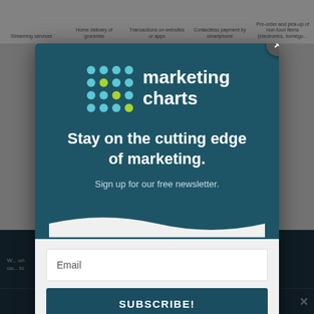[Figure (screenshot): Background page content showing category labels for streaming services, home delivery of groceries, transactions on websites or apps, contactless payment by smartphone, pre-order and pick up of non-food items (electronics, homegoo...)]
[Figure (infographic): Marketing Charts newsletter signup modal overlay. Contains the Marketing Charts logo (dot grid + brand name), headline 'Stay on the cutting edge of marketing.', subtext 'Sign up for our free newsletter.', email input field, and SUBSCRIBE! button. A close X button appears at top right.]
marketing charts
Stay on the cutting edge of marketing.
Sign up for our free newsletter.
Email
SUBSCRIBE!
Share This